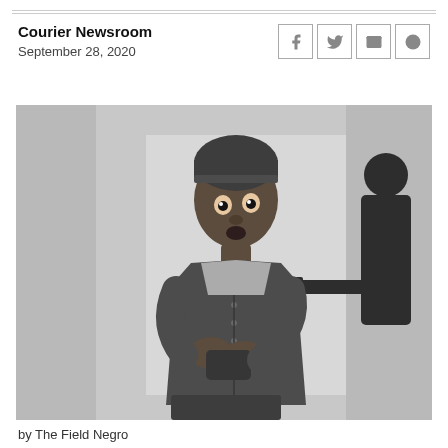Courier Newsroom
September 28, 2020
[Figure (photo): Black and white photograph of a young Black man wearing a knit cap and cardigan, holding something in his hands, with a look of alarm on his face. A silhouetted figure on the right appears to be pointing a gun at him.]
by The Field Negro